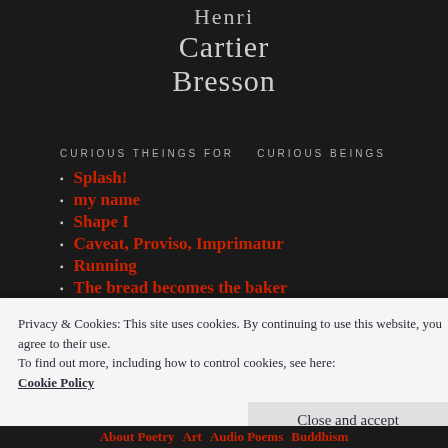Henri Cartier Bresson
CURIOUS THEINGS FOR   CURIOUS BEINGS
Splash!
my name
Shape I
Caveat, Proviso, Imprimatur
Running
The bread becomes the baker
Three Facets
Privacy & Cookies: This site uses cookies. By continuing to use this website, you agree to their use.
To find out more, including how to control cookies, see here: Cookie Policy
Close and accept
About Poetry  Art  Audio Poems  Buddhism